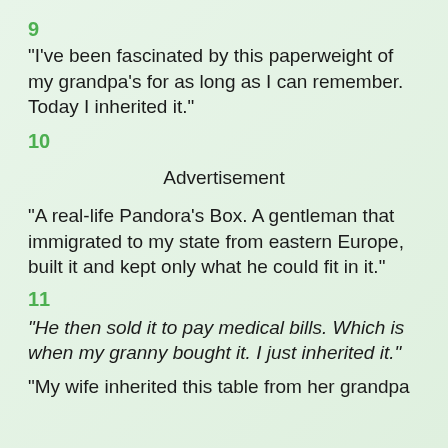9
“I’ve been fascinated by this paperweight of my grandpa’s for as long as I can remember. Today I inherited it.”
10
Advertisement
“A real-life Pandora’s Box. A gentleman that immigrated to my state from eastern Europe, built it and kept only what he could fit in it.”
11
“He then sold it to pay medical bills. Which is when my granny bought it. I just inherited it.”
“My wife inherited this table from her grandpa